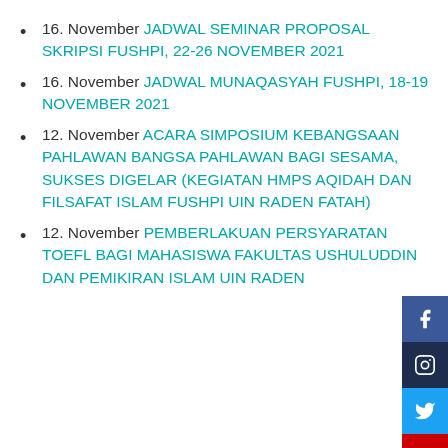16. November JADWAL SEMINAR PROPOSAL SKRIPSI FUSHPI, 22-26 NOVEMBER 2021
16. November JADWAL MUNAQASYAH FUSHPI, 18-19 NOVEMBER 2021
12. November ACARA SIMPOSIUM KEBANGSAAN PAHLAWAN BANGSA PAHLAWAN BAGI SESAMA, SUKSES DIGELAR (KEGIATAN HMPS AQIDAH DAN FILSAFAT ISLAM FUSHPI UIN RADEN FATAH)
12. November PEMBERLAKUAN PERSYARATAN TOEFL BAGI MAHASISWA FAKULTAS USHULUDDIN DAN PEMIKIRAN ISLAM UIN RADEN